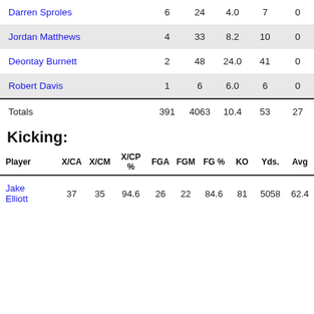| Player |  |  |  |  |  |
| --- | --- | --- | --- | --- | --- |
| Darren Sproles | 6 | 24 | 4.0 | 7 | 0 |
| Jordan Matthews | 4 | 33 | 8.2 | 10 | 0 |
| Deontay Burnett | 2 | 48 | 24.0 | 41 | 0 |
| Robert Davis | 1 | 6 | 6.0 | 6 | 0 |
| Totals | 391 | 4063 | 10.4 | 53 | 27 |
Kicking:
| Player | X/CA | X/CM | X/CP % | FGA | FGM | FG % | KO | Yds. | Avg |
| --- | --- | --- | --- | --- | --- | --- | --- | --- | --- |
| Jake Elliott | 37 | 35 | 94.6 | 26 | 22 | 84.6 | 81 | 5058 | 62.4 |